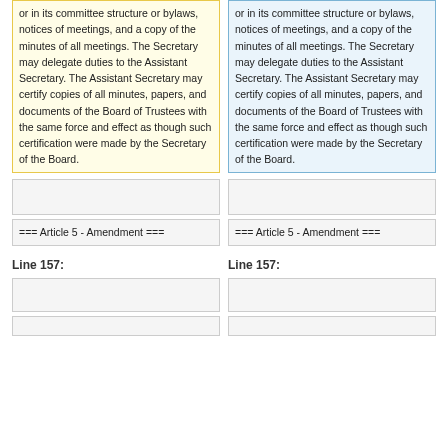or in its committee structure or bylaws, notices of meetings, and a copy of the minutes of all meetings.  The Secretary may delegate duties to the Assistant Secretary.  The Assistant Secretary may certify copies of all minutes, papers, and documents of the Board of Trustees with the same force and effect as though such certification were made by the Secretary of the Board.
or in its committee structure or bylaws, notices of meetings, and a copy of the minutes of all meetings.  The Secretary may delegate duties to the Assistant Secretary.  The Assistant Secretary may certify copies of all minutes, papers, and documents of the Board of Trustees with the same force and effect as though such certification were made by the Secretary of the Board.
=== Article 5 - Amendment ===
=== Article 5 - Amendment ===
Line 157:
Line 157: